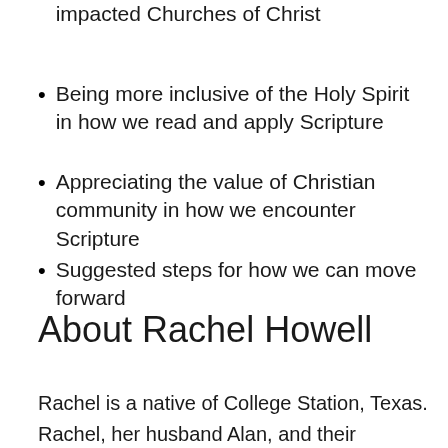about the role of Scripture and how it has impacted Churches of Christ
Being more inclusive of the Holy Spirit in how we read and apply Scripture
Appreciating the value of Christian community in how we encounter Scripture
Suggested steps for how we can move forward
About Rachel Howell
Rachel is a native of College Station, Texas. Rachel, her husband Alan, and their children currently reside in Searcy, Arkansas where Alan is serving at Harding University as the Missionary in Residence. She has experience in campus ministry and spent fifteen years with her family working as missionaries in Mozambique.